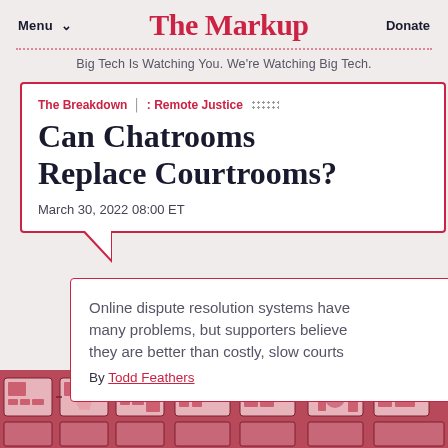Menu ∨   The Markup   Donate
Big Tech Is Watching You. We're Watching Big Tech.
The Breakdown : Remote Justice
Can Chatrooms Replace Courtrooms?
March 30, 2022 08:00 ET
Online dispute resolution systems have many problems, but supporters believe they are better than costly, slow courts
By Todd Feathers
[Figure (illustration): Decorative illustration with circuit-board and courtroom-themed iconography in pink and dark red tones at the bottom of the page.]